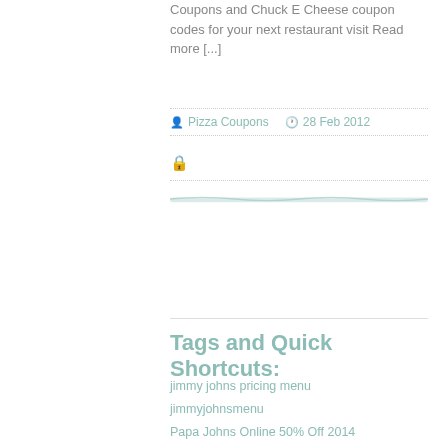Coupons and Chuck E Cheese coupon codes for your next restaurant visit Read more [...]
Pizza Coupons  28 Feb 2012
Tags and Quick Shortcuts:
jimmy johns pricing menu
jimmyjohnsmenu
Papa Johns Online 50% Off 2014
papa johns promo codes november 2013
pizza hut coupon codes 2013
pizza hut eat in coupons
papa johns promo codes 2014
dominos vouchers uk